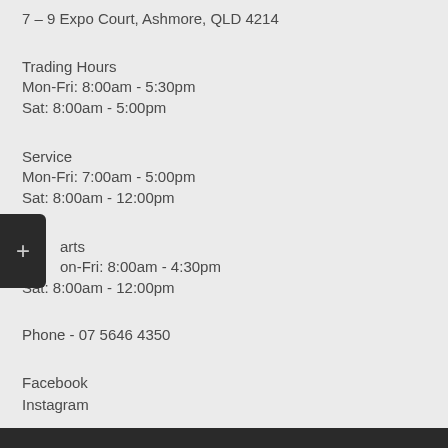7 – 9 Expo Court, Ashmore, QLD 4214
Trading Hours
Mon-Fri: 8:00am - 5:30pm
Sat: 8:00am - 5:00pm
Service
Mon-Fri: 7:00am - 5:00pm
Sat: 8:00am - 12:00pm
Parts
Mon-Fri: 8:00am - 4:30pm
Sat: 8:00am - 12:00pm
Phone - 07 5646 4350
Facebook
Instagram